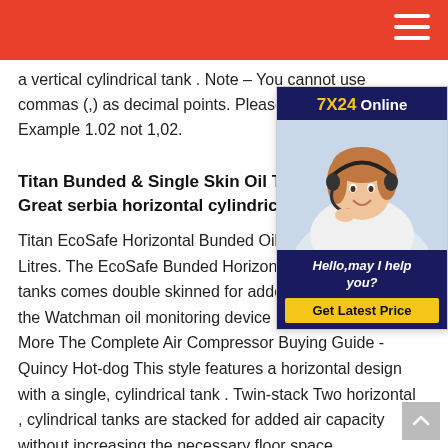a vertical cylindrical tank . Note – You cannot use commas (,) as decimal points. Please use Example 1.02 not 1,02.
[Figure (photo): Customer service representative woman wearing headset, smiling, with 7X24 Online chat widget overlay and Hello, may I help you? text and Get Latest Price button]
Titan Bunded & Single Skin Oil Tanks Great serbia horizontal cylindrical ta…
Titan EcoSafe Horizontal Bunded Oil Ta… Litres. The EcoSafe Bunded Horizontal … tanks comes double skinned for added p… the Watchman oil monitoring device as standard. Learn More The Complete Air Compressor Buying Guide - Quincy Hot-dog This style features a horizontal design with a single, cylindrical tank . Twin-stack Two horizontal , cylindrical tanks are stacked for added air capacity without increasing the necessary floor space.